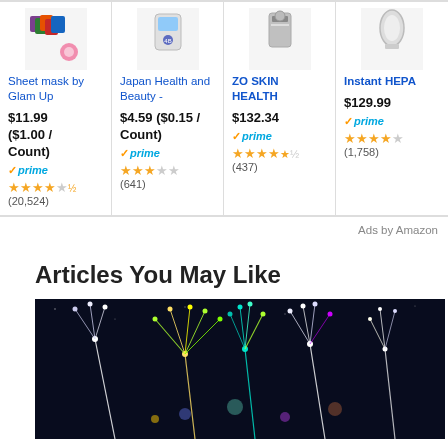[Figure (other): Row of four Amazon product cards showing: Sheet mask by Glam Up ($11.99), Japan Health and Beauty - ($4.59), ZO SKIN HEALTH ($132.34), Instant HEPA ($129.99) with star ratings and Prime badges]
Ads by Amazon
Articles You May Like
[Figure (photo): Colorful fireworks on dark navy background with streaks of light in yellow, green, teal, white, and purple colors]